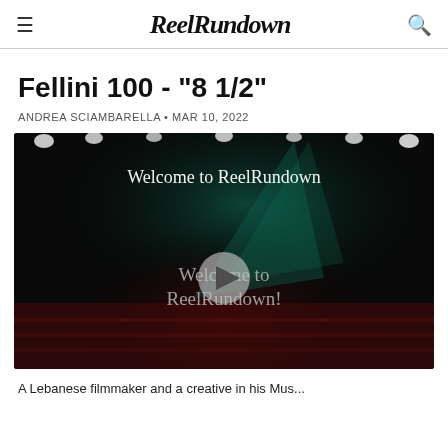ReelRundown
Fellini 100 - "8 1/2"
ANDREA SCIAMBARELLA • MAR 10, 2022
[Figure (screenshot): Video thumbnail showing 'Welcome to ReelRundown' text overlaid on a dark stage with theater lights, center play button, and 'Welcome to ReelRundown!' text lower center]
A Lebanese filmmaker and a creative in his Mus...